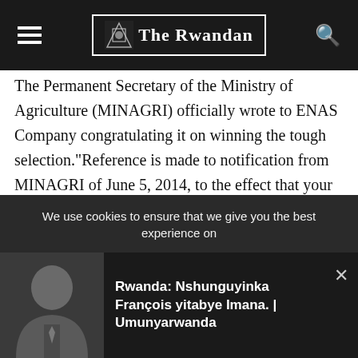The Rwandan
The Permanent Secretary of the Ministry of Agriculture (MINAGRI) officially wrote to ENAS Company congratulating it on winning the tough selection.“Reference is made to notification from MINAGRI of June 5, 2014, to the effect that your expression of interest had been successful and that you would be invited to make your quotations,” reads part of the letter signed by former Permanent Secretary Tony Nsanganira.
‘Further, reference is made to the invitation for your company to provide quotations for subsidised Mineral Fertilizers that you commit to import and supply for the crop intensification program
We use cookies to ensure that we give you the best experience on
Rwanda: Nshunguyinka François yitabye Imana. | Umunyarwanda